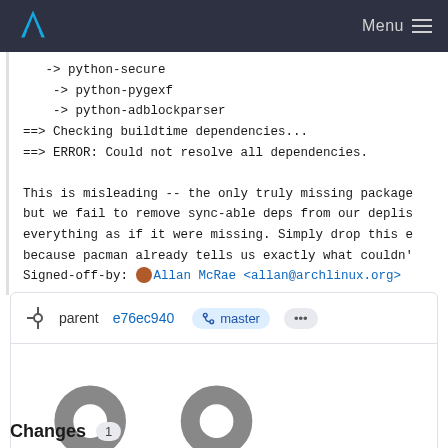Arch Linux Menu
-> python-secure
    -> python-pygexf
    -> python-adblockparser
==> Checking buildtime dependencies...
==> ERROR: Could not resolve all dependencies.

This is misleading -- the only truly missing package
but we fail to remove sync-able deps from our deplis
everything as if it were missing. Simply drop this e
because pacman already tells us exactly what couldn'
Signed-off-by: 🎨 Allan McRae <allan@archlinux.org>
parent e76ec940 master ... No related merge requests found
Changes 1